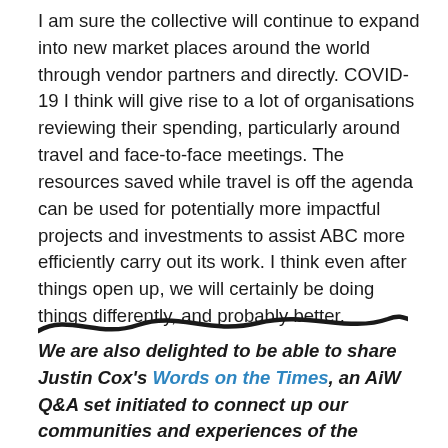I am sure the collective will continue to expand into new market places around the world through vendor partners and directly. COVID-19 I think will give rise to a lot of organisations reviewing their spending, particularly around travel and face-to-face meetings. The resources saved while travel is off the agenda can be used for potentially more impactful projects and investments to assist ABC more efficiently carry out its work. I think even after things open up, we will certainly be doing things differently, and probably better.
[Figure (illustration): A decorative wavy horizontal divider line in dark color]
We are also delighted to be able to share Justin Cox's Words on the Times, an AiW Q&A set initiated to connect up our communities and experiences of the pandemic around our common focuses and shared